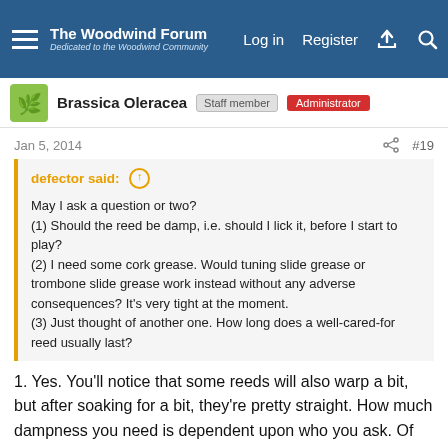The Woodwind Forum — Dedicated to the Woodwind Community
Brassica Oleracea   Staff Member   Administrator
Jan 5, 2014   #19
defector said: ↑
May I ask a question or two?
(1) Should the reed be damp, i.e. should I lick it, before I start to play?
(2) I need some cork grease. Would tuning slide grease or trombone slide grease work instead without any adverse consequences? It's very tight at the moment.
(3) Just thought of another one. How long does a well-cared-for reed usually last?
1. Yes. You'll notice that some reeds will also warp a bit, but after soaking for a bit, they're pretty straight. How much dampness you need is dependent upon who you ask. Of course, if you're using a synthetic ("plastic") reed, that's a bit of a different story.
2. I can't think of anything adverse. Just don't use so much that it's gunking up your horn or if makes one of the joints fall off. If